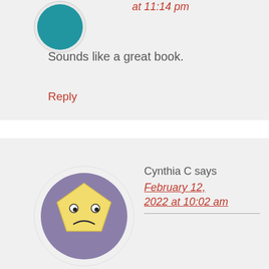at 11:14 pm
Sounds like a great book.
Reply
Cynthia C says
February 12, 2022 at 10:02 am
The excerpt is interesting. Thank you for sharing it.